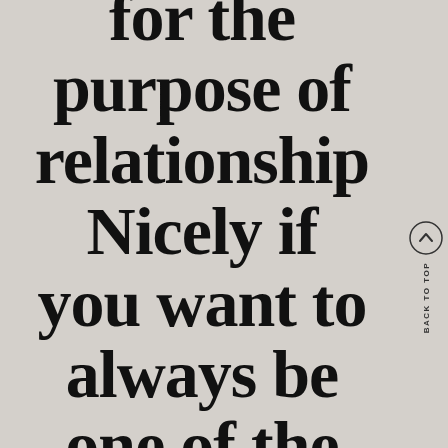for the purpose of relationship Nicely if you want to always be one of the males that
BACK TO TOP